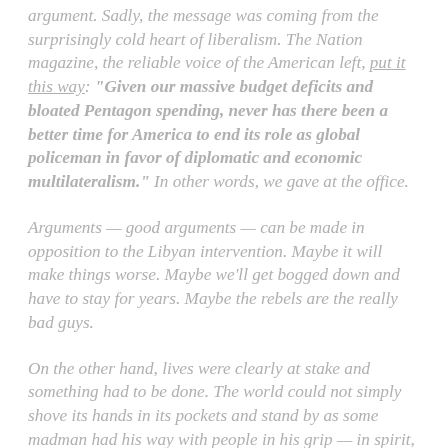argument. Sadly, the message was coming from the surprisingly cold heart of liberalism. The Nation magazine, the reliable voice of the American left, put it this way: "Given our massive budget deficits and bloated Pentagon spending, never has there been a better time for America to end its role as global policeman in favor of diplomatic and economic multilateralism." In other words, we gave at the office.
Arguments — good arguments — can be made in opposition to the Libyan intervention. Maybe it will make things worse. Maybe we'll get bogged down and have to stay for years. Maybe the rebels are the really bad guys.
On the other hand, lives were clearly at stake and something had to be done. The world could not simply shove its hands in its pockets and stand by as some madman had his way with people in his grip — in spirit, a reprise of the Evian conference. The Libyan intervention